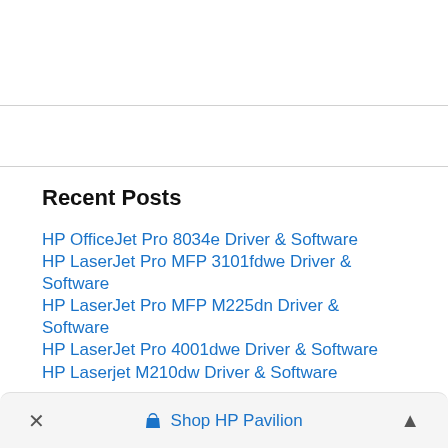Recent Posts
HP OfficeJet Pro 8034e Driver & Software
HP LaserJet Pro MFP 3101fdwe Driver & Software
HP LaserJet Pro MFP M225dn Driver & Software
HP LaserJet Pro 4001dwe Driver & Software
HP Laserjet M210dw Driver & Software
× Shop HP Pavilion ^